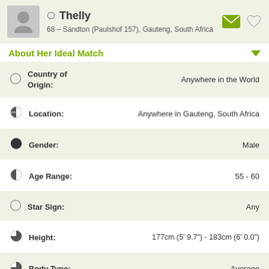Thelly – 68 – Sandton (Paulshof 157), Gauteng, South Africa
About Her Ideal Match
Country of Origin: Anywhere in the World
Location: Anywhere in Gauteng, South Africa
Gender: Male
Age Range: 55 - 60
Star Sign: Any
Height: 177cm (5' 9.7") - 183cm (6' 0.0")
Body Type: Average